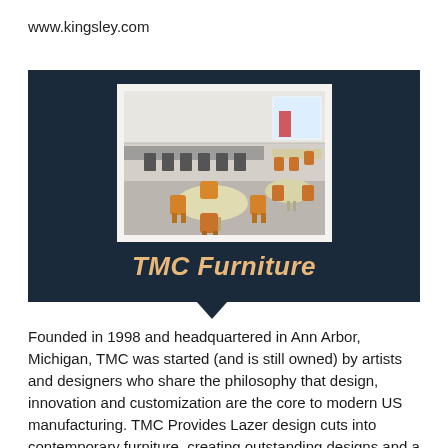www.kingsley.com
[Figure (photo): Dark navy blue panel containing a polaroid-style photo of a classroom/furniture showroom with round tables and orange wooden chairs, with the text 'TMC Furniture' in gold italic bold font below the photo, and a downward pointing arrow beneath the panel.]
Founded in 1998 and headquartered in Ann Arbor, Michigan, TMC was started (and is still owned) by artists and designers who share the philosophy that design, innovation and customization are the core to modern US manufacturing. TMC Provides Lazer design cuts into contemporary furniture, creating outstanding designs and a look